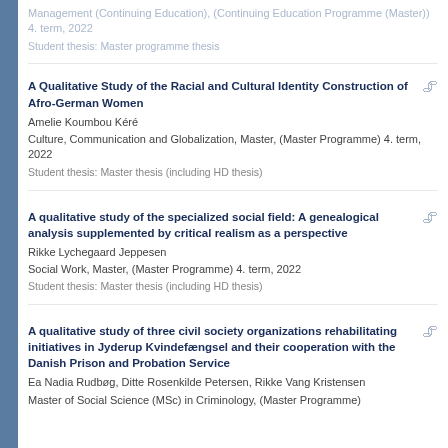Management (Continuing Education), (Continuing Education Programme (Master)) 4. term, 2022
Student thesis: Master programme thesis
A Qualitative Study of the Racial and Cultural Identity Construction of Afro-German Women
Amelie Koumbou Kéré
Culture, Communication and Globalization, Master, (Master Programme) 4. term, 2022
Student thesis: Master thesis (including HD thesis)
A qualitative study of the specialized social field: A genealogical analysis supplemented by critical realism as a perspective
Rikke Lychegaard Jeppesen
Social Work, Master, (Master Programme) 4. term, 2022
Student thesis: Master thesis (including HD thesis)
A qualitative study of three civil society organizations rehabilitating initiatives in Jyderup Kvindefængsel and their cooperation with the Danish Prison and Probation Service
Ea Nadia Rudbøg, Ditte Rosenkilde Petersen, Rikke Vang Kristensen
Master of Social Science (MSc) in Criminology, (Master Programme)